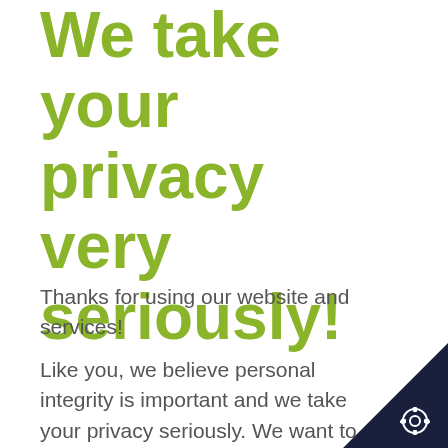We take your privacy very seriously!
Thanks for using our website and services!
Like you, we believe personal integrity is important and we take your privacy seriously. We want to ensure that we always process your personal data in accordance with legal requirements and your rightful expectations.
[Figure (illustration): Dark navy triangle in bottom-right corner with a gear/settings icon]